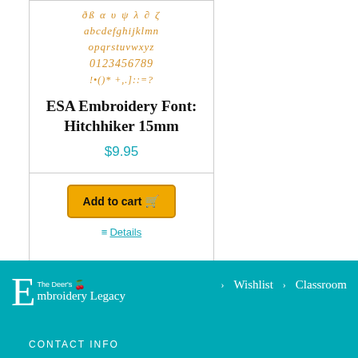[Figure (illustration): Font sample showing embroidery font characters in golden/amber color: lowercase alphabet 'abcdefghijklmn opqrstuvwxyz', digits '0123456789', and special characters '!•()* +,.]::=?']
ESA Embroidery Font: Hitchhiker 15mm
$9.95
Add to cart 🛒
≡ Details
[Figure (logo): The Deer's Embroidery Legacy logo with large E letter and berry icon]
> Wishlist  > Classroom
CONTACT INFO